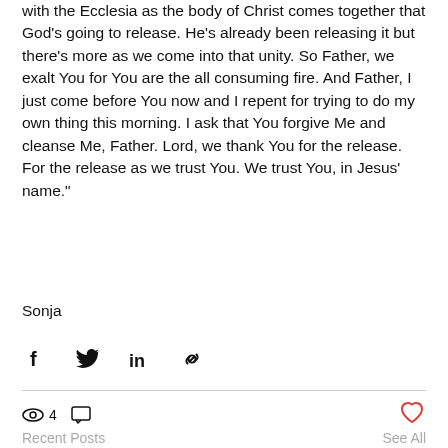with the Ecclesia as the body of Christ comes together that God’s going to release. He’s already been releasing it but there’s more as we come into that unity. So Father, we exalt You for You are the all consuming fire. And Father, I just come before You now and I repent for trying to do my own thing this morning. I ask that You forgive Me and cleanse Me, Father. Lord, we thank You for the release. For the release as we trust You. We trust You, in Jesus’ name.”
Sonja
[Figure (infographic): Social share icons: Facebook (f), Twitter (bird), LinkedIn (in), and link/chain icon]
4 views, 0 comments, heart/like button
Recent Posts
See All